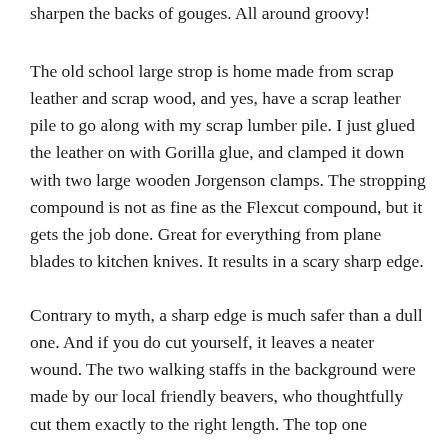sharpen the backs of gouges. All around groovy!
The old school large strop is home made from scrap leather and scrap wood, and yes, have a scrap leather pile to go along with my scrap lumber pile. I just glued the leather on with Gorilla glue, and clamped it down with two large wooden Jorgenson clamps. The stropping compound is not as fine as the Flexcut compound, but it gets the job done. Great for everything from plane blades to kitchen knives. It results in a scary sharp edge.
Contrary to myth, a sharp edge is much safer than a dull one. And if you do cut yourself, it leaves a neater wound. The two walking staffs in the background were made by our local friendly beavers, who thoughtfully cut them exactly to the right length. The top one